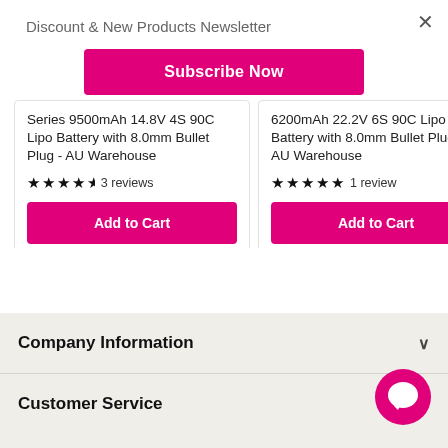Discount & New Products Newsletter
Subscribe Now
Series 9500mAh 14.8V 4S 90C Lipo Battery with 8.0mm Bullet Plug - AU Warehouse
3 reviews
Add to Cart
6200mAh 22.2V 6S 90C Lipo Battery with 8.0mm Bullet Plug - AU Warehouse
1 review
Add to Cart
Company Information
Customer Service